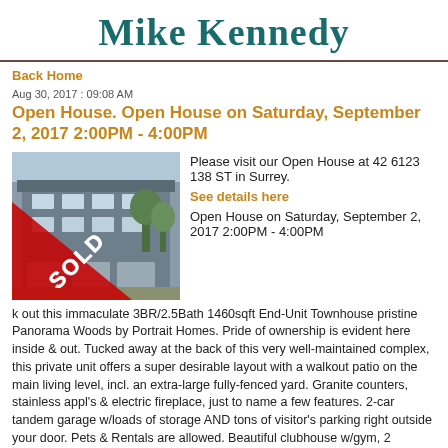Mike Kennedy
Back Home
Aug 30, 2017 : 09:08 AM
Open House. Open House on Saturday, September 2, 2017 2:00PM - 4:00PM
[Figure (photo): Photo of a townhouse complex with a red SOLD banner overlay]
Please visit our Open House at 42 6123 138 ST in Surrey.
See details here
Open House on Saturday, September 2, 2017 2:00PM - 4:00PM
k out this immaculate 3BR/2.5Bath 1460sqft End-Unit Townhouse pristine Panorama Woods by Portrait Homes. Pride of ownership is evident here inside & out. Tucked away at the back of this very well-maintained complex, this private unit offers a super desirable layout with a walkout patio on the main living level, incl. an extra-large fully-fenced yard. Granite counters, stainless appl's & electric fireplace, just to name a few features. 2-car tandem garage w/loads of storage AND tons of visitor's parking right outside your door. Pets & Rentals are allowed. Beautiful clubhouse w/gym, 2 lounges, guest suite & playground. The perfect home to raise a family. Great location & well-respected complex.